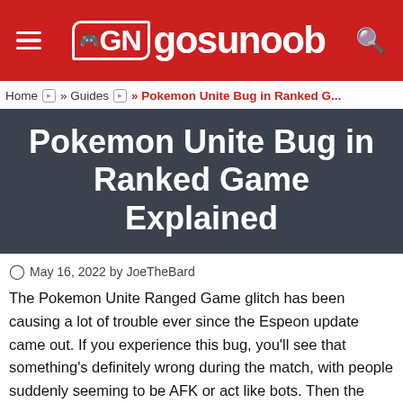gosunoob
Home » Guides » Pokemon Unite Bug in Ranked G...
Pokemon Unite Bug in Ranked Game Explained
May 16, 2022 by JoeTheBard
The Pokemon Unite Ranged Game glitch has been causing a lot of trouble ever since the Espeon update came out. If you experience this bug, you'll see that something's definitely wrong during the match, with people suddenly seeming to be AFK or act like bots. Then the results screen comes up, and they're completely different from what you were seeing the whole time. So, what's going on? Well, that's exactly what we'll